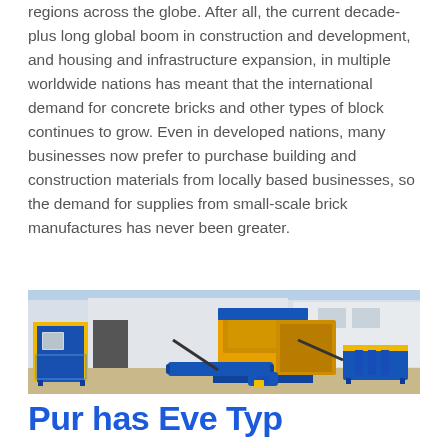regions across the globe. After all, the current decade-plus long global boom in construction and development, and housing and infrastructure expansion, in multiple worldwide nations has meant that the international demand for concrete bricks and other types of block continues to grow. Even in developed nations, many businesses now prefer to purchase building and construction materials from locally based businesses, so the demand for supplies from small-scale brick manufactures has never been greater.
[Figure (photo): A concrete block making machine system with blue and yellow/orange industrial equipment including block press, mixer, and conveyor systems, photographed outdoors in front of a large warehouse building.]
Pur has Eve Typ